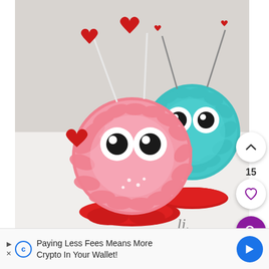[Figure (photo): Two fluffy monster-shaped cupcakes/cakes on a light surface. The foreground one is pink with red heart-topped sticks/antennae and googly eyes, sitting on a red fondant base shaped like a puddle or bow. The background one is teal/turquoise with similar googly eyes and thin antennae topped with small hearts, also on a red base. The photo has a handwritten watermark at the bottom.]
15
Paying Less Fees Means More Crypto In Your Wallet!